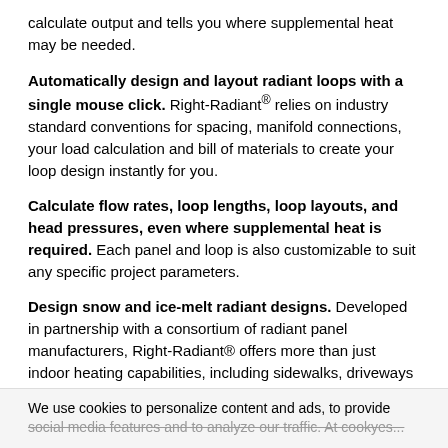calculate output and tells you where supplemental heat may be needed.
Automatically design and layout radiant loops with a single mouse click. Right-Radiant® relies on industry standard conventions for spacing, manifold connections, your load calculation and bill of materials to create your loop design instantly for you.
Calculate flow rates, loop lengths, loop layouts, and head pressures, even where supplemental heat is required. Each panel and loop is also customizable to suit any specific project parameters.
Design snow and ice-melt radiant designs. Developed in partnership with a consortium of radiant panel manufacturers, Right-Radiant® offers more than just indoor heating capabilities, including sidewalks, driveways and more.
Estimate costs through "Quick Quote" within Right-Radiant® without drawing a floor plan. The Quick Quote mode was designed for a first pass assessment, a design free way to
We use cookies to personalize content and ads, to provide social media features and to analyze our traffic. At cookyes...